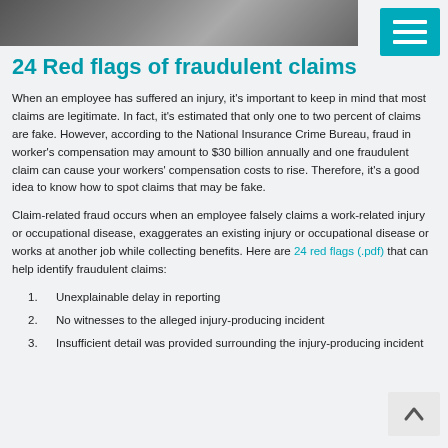[Figure (photo): Partial photo of a person in dark clothing, cropped at the top of the page]
24 Red flags of fraudulent claims
When an employee has suffered an injury, it’s important to keep in mind that most claims are legitimate. In fact, it’s estimated that only one to two percent of claims are fake. However, according to the National Insurance Crime Bureau, fraud in worker’s compensation may amount to $30 billion annually and one fraudulent claim can cause your workers’ compensation costs to rise. Therefore, it’s a good idea to know how to spot claims that may be fake.
Claim-related fraud occurs when an employee falsely claims a work-related injury or occupational disease, exaggerates an existing injury or occupational disease or works at another job while collecting benefits. Here are 24 red flags (.pdf) that can help identify fraudulent claims:
Unexplainable delay in reporting
No witnesses to the alleged injury-producing incident
Insufficient detail was provided surrounding the injury-producing incident